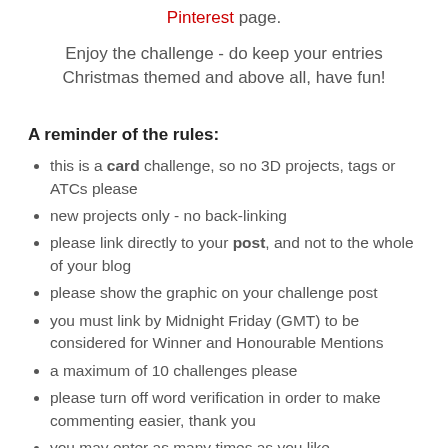Pinterest page.
Enjoy the challenge - do keep your entries Christmas themed and above all, have fun!
A reminder of the rules:
this is a card challenge, so no 3D projects, tags or ATCs please
new projects only - no back-linking
please link directly to your post, and not to the whole of your blog
please show the graphic on your challenge post
you must link by Midnight Friday (GMT) to be considered for Winner and Honourable Mentions
a maximum of 10 challenges please
please turn off word verification in order to make commenting easier, thank you
you may enter as many times as you like